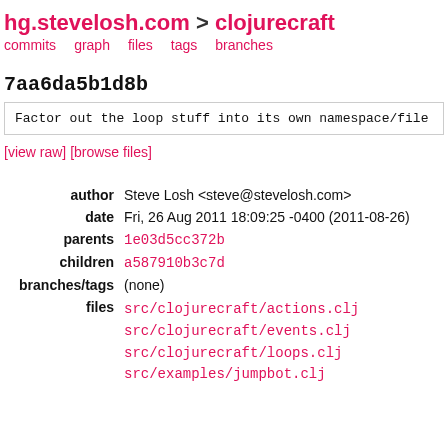hg.stevelosh.com > clojurecraft
commits   graph   files   tags   branches
7aa6da5b1d8b
Factor out the loop stuff into its own namespace/file
[view raw] [browse files]
| author | Steve Losh <steve@stevelosh.com> |
| date | Fri, 26 Aug 2011 18:09:25 -0400 (2011-08-26) |
| parents | 1e03d5cc372b |
| children | a587910b3c7d |
| branches/tags | (none) |
| files | src/clojurecraft/actions.clj
src/clojurecraft/events.clj
src/clojurecraft/loops.clj
src/examples/jumpbot.clj |